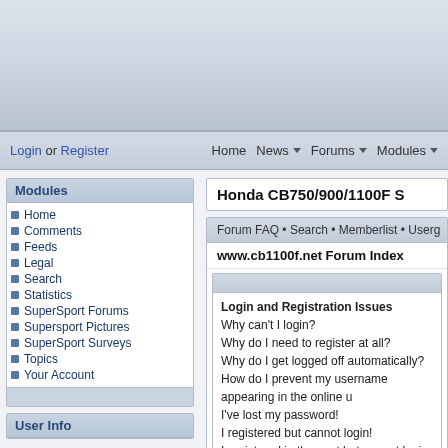[Figure (other): Website header banner with blue-grey gradient background]
Login or Register   Home  News  Forums  Modules
Honda CB750/900/1100F S
Forum FAQ • Search • Memberlist • Userg
www.cb1100f.net Forum Index
Modules
Home
Comments
Feeds
Legal
Search
Statistics
SuperSport Forums
Supersport Pictures
SuperSport Surveys
Topics
Your Account
User Info
Login and Registration Issues
Why can't I login?
Why do I need to register at all?
Why do I get logged off automatically?
How do I prevent my username appearing in the online u
I've lost my password!
I registered but cannot login!
I registered in the past but cannot login any more?!